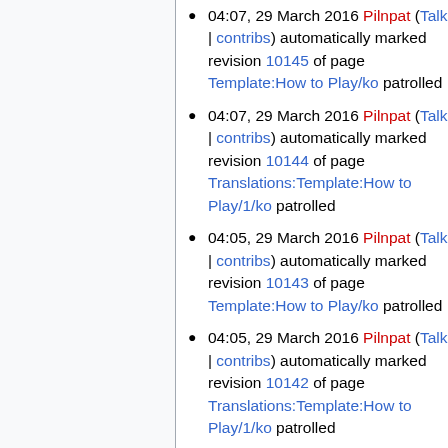04:07, 29 March 2016 Pilnpat (Talk | contribs) automatically marked revision 10145 of page Template:How to Play/ko patrolled
04:07, 29 March 2016 Pilnpat (Talk | contribs) automatically marked revision 10144 of page Translations:Template:How to Play/1/ko patrolled
04:05, 29 March 2016 Pilnpat (Talk | contribs) automatically marked revision 10143 of page Template:How to Play/ko patrolled
04:05, 29 March 2016 Pilnpat (Talk | contribs) automatically marked revision 10142 of page Translations:Template:How to Play/1/ko patrolled
04:05, 29 March 2016 Pilnpat (Talk | contribs) automatically marked...